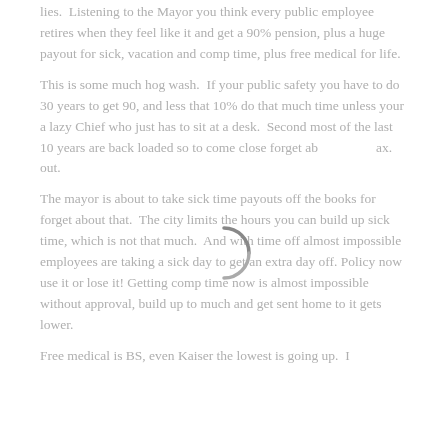lies.  Listening to the Mayor you think every public employee retires when they feel like it and get a 90% pension, plus a huge payout for sick, vacation and comp time, plus free medical for life.
This is some much hog wash.  If your public safety you have to do 30 years to get 90, and less that 10% do that much time unless your a lazy Chief who just has to sit at a desk.  Second most of the last 10 years are back loaded so to come close forget about max. out.
The mayor is about to take sick time payouts off the books for forget about that.  The city limits the hours you can build up sick time, which is not that much.  And with time off almost impossible employees are taking a sick day to get an extra day off. Policy now use it or lose it! Getting comp time now is almost impossible without approval, build up to much and get sent home to it gets lower.
Free medical is BS, even Kaiser the lowest is going up.  I